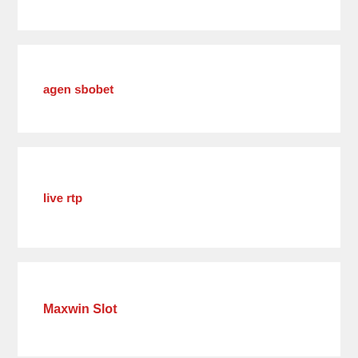agen sbobet
live rtp
Maxwin Slot